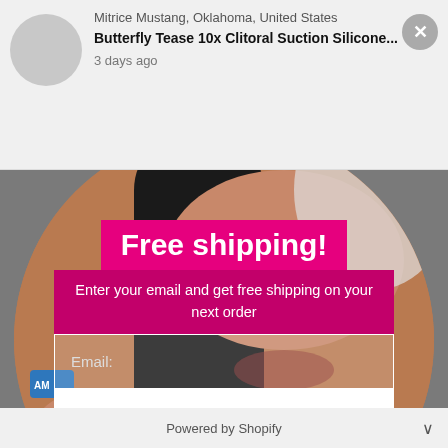Mitrice Mustang, Oklahoma, United States
Butterfly Tease 10x Clitoral Suction Silicone...
3 days ago
[Figure (photo): A woman holding a black cylindrical product against a light background, shown in a large circle crop]
Free shipping!
Enter your email and get free shipping on your next order
Email:
Subscribe
Powered by Shopify